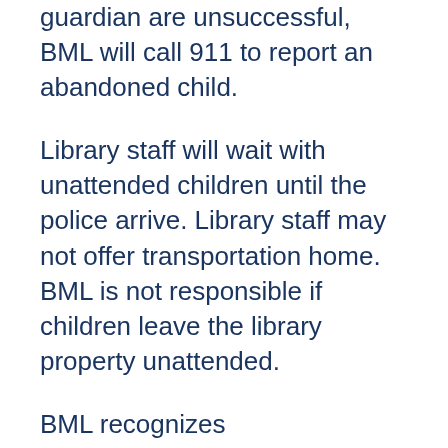guardian are unsuccessful, BML will call 911 to report an abandoned child.
Library staff will wait with unattended children until the police arrive. Library staff may not offer transportation home. BML is not responsible if children leave the library property unattended.
BML recognizes parents'/guardians'/caretakers' responsibility for the behavior and well-being of their children. We respect the privacy of all